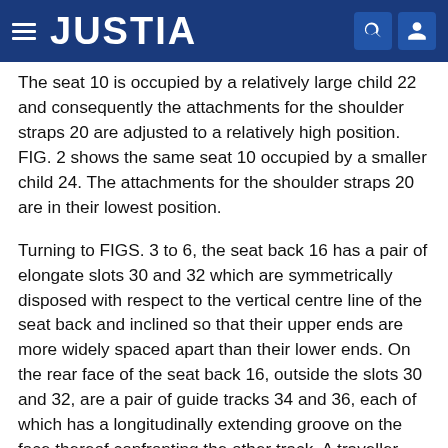JUSTIA
The seat 10 is occupied by a relatively large child 22 and consequently the attachments for the shoulder straps 20 are adjusted to a relatively high position. FIG. 2 shows the same seat 10 occupied by a smaller child 24. The attachments for the shoulder straps 20 are in their lowest position.
Turning to FIGS. 3 to 6, the seat back 16 has a pair of elongate slots 30 and 32 which are symmetrically disposed with respect to the vertical centre line of the seat back and inclined so that their upper ends are more widely spaced apart than their lower ends. On the rear face of the seat back 16, outside the slots 30 and 32, are a pair of guide tracks 34 and 36, each of which has a longitudinally extending groove on the face thereof confronting the other track. A traveller plate 38 engages in these grooves so as to be slidable vertically relative to